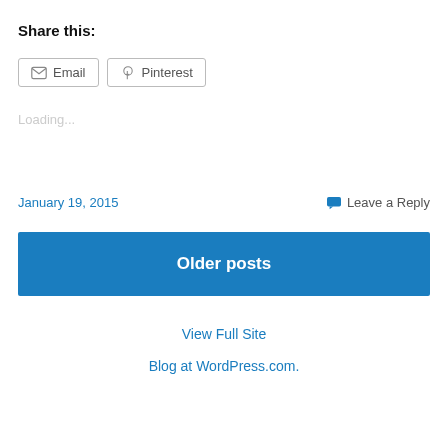Share this:
Email   Pinterest
Loading...
January 19, 2015
Leave a Reply
Older posts
View Full Site
Blog at WordPress.com.